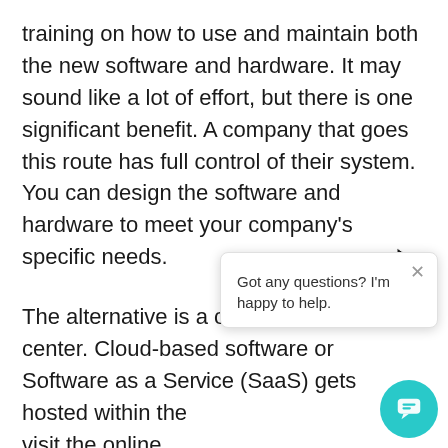training on how to use and maintain both the new software and hardware. It may sound like a lot of effort, but there is one significant benefit. A company that goes this route has full control of their system. You can design the software and hardware to meet your company's specific needs.
The alternative is a cloud-based call center. Cloud-based software or Software as a Service (SaaS) gets hosted within the [obscured] visit the online domain [obscured] software is easy to use [obscured] from the user's end, and is much more affordable than building everything on-site. It is also sca[lable] meaning a business only pays for what they use